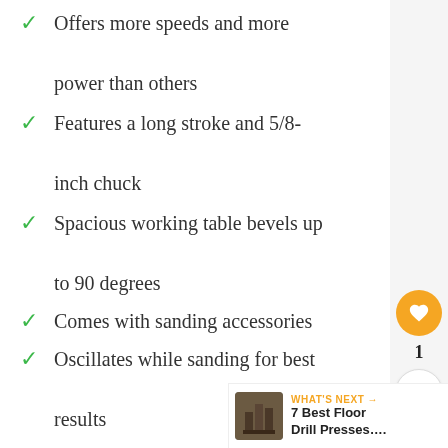Offers more speeds and more power than others
Features a long stroke and 5/8-inch chuck
Spacious working table bevels up to 90 degrees
Comes with sanding accessories
Oscillates while sanding for best results
Cons:
No onboard work light
It an expensive press